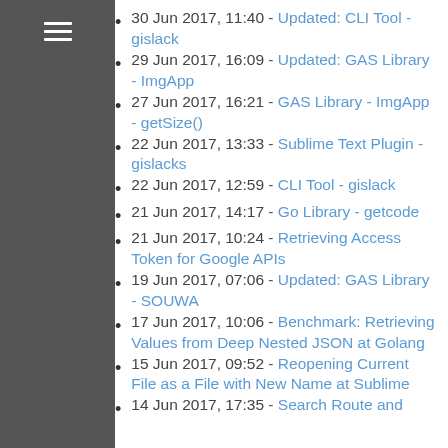30 Jun 2017, 11:40 - Updated: CLI Tool - gislack
29 Jun 2017, 16:09 - Updated: GAS Library - ImgApp
27 Jun 2017, 16:21 - GAS Library - ImgApp - getSize()
22 Jun 2017, 13:33 - Sublime Text Plugin - gislacks
22 Jun 2017, 12:59 - CLI Tool - gislack
21 Jun 2017, 14:17 - Go Library - getcode
21 Jun 2017, 10:24 - Retrieving Access Token for Google APIs
19 Jun 2017, 07:06 - Updated: GAS Library - SOUWA
17 Jun 2017, 10:06 - Benchmark: Retrieving Values from Deep Nested JSON at Golang
15 Jun 2017, 09:52 - Reopening Current File as a File with New Name at Sublime
14 Jun 2017, 17:35 - Search Route and